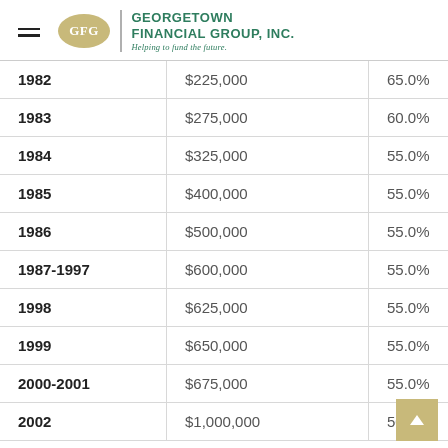Georgetown Financial Group, Inc. — Helping to fund the future.
| Year | Amount | Percentage |
| --- | --- | --- |
| 1982 | $225,000 | 65.0% |
| 1983 | $275,000 | 60.0% |
| 1984 | $325,000 | 55.0% |
| 1985 | $400,000 | 55.0% |
| 1986 | $500,000 | 55.0% |
| 1987-1997 | $600,000 | 55.0% |
| 1998 | $625,000 | 55.0% |
| 1999 | $650,000 | 55.0% |
| 2000-2001 | $675,000 | 55.0% |
| 2002 | $1,000,000 | 50.0% |